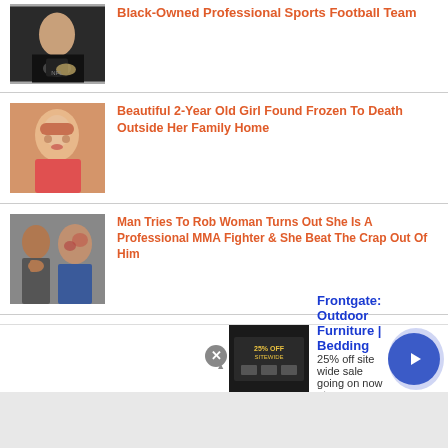Black-Owned Professional Sports Football Team
Beautiful 2-Year Old Girl Found Frozen To Death Outside Her Family Home
Man Tries To Rob Woman Turns Out She Is A Professional MMA Fighter & She Beat The Crap Out Of Him
Mississippi Mother Stabbed To Death By Her 14 & 12-Year Old Daughters
[Figure (other): Advertisement banner for Frontgate Outdoor Furniture and Bedding - 25% off sitewide sale]